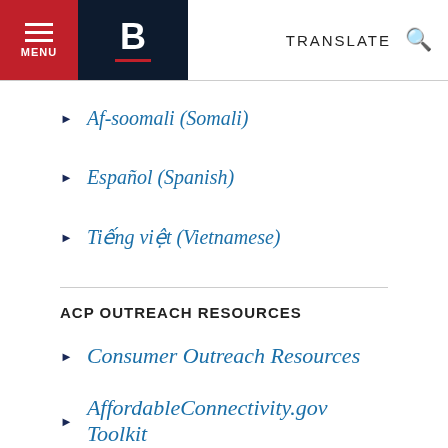MENU | B | TRANSLATE
Af-soomali (Somali)
Español (Spanish)
Tiếng việt (Vietnamese)
ACP OUTREACH RESOURCES
Consumer Outreach Resources
AffordableConnectivity.gov Toolkit